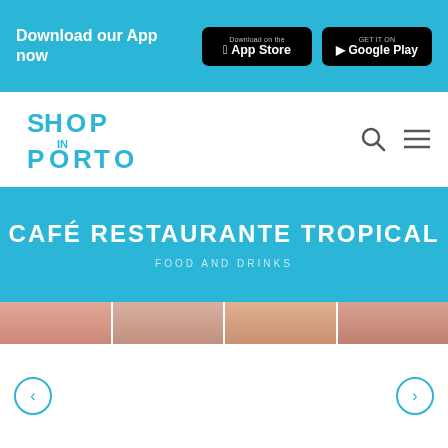Download our App now
[Figure (logo): Shop In Porto logo — stylized text forming shop and porto shapes]
CAFÉ RESTAURANTE TROPICAL
FOOD AND DRINKS
[Figure (photo): Partial food/drink image strip at top of slider carousel]
[Figure (other): Previous and next navigation arrows for image carousel]